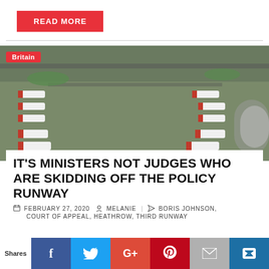READ MORE
[Figure (photo): Aerial view of Heathrow Airport with British Airways planes docked at terminal gates, runways visible in background. Britain tag overlay in top-left corner.]
IT'S MINISTERS NOT JUDGES WHO ARE SKIDDING OFF THE POLICY RUNWAY
FEBRUARY 27, 2020  MELANIE  |  BORIS JOHNSON, COURT OF APPEAL, HEATHROW, THIRD RUNWAY
Shares